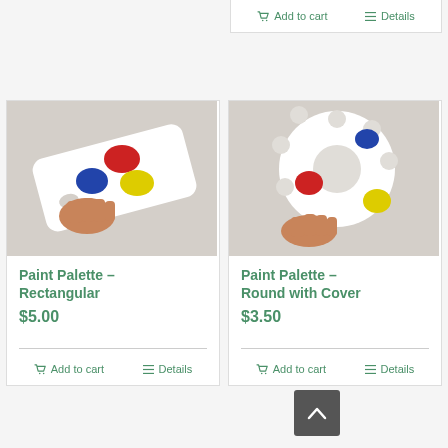[Figure (screenshot): Top partial card with Add to cart and Details buttons visible]
Add to cart
Details
[Figure (photo): Hand holding a white rectangular paint palette with red, blue, and yellow paint blobs]
Paint Palette – Rectangular
$5.00
Add to cart
Details
[Figure (photo): Hand holding a white round paint palette with multiple wells and red, blue, and yellow paint blobs]
Paint Palette – Round with Cover
$3.50
Add to cart
Details